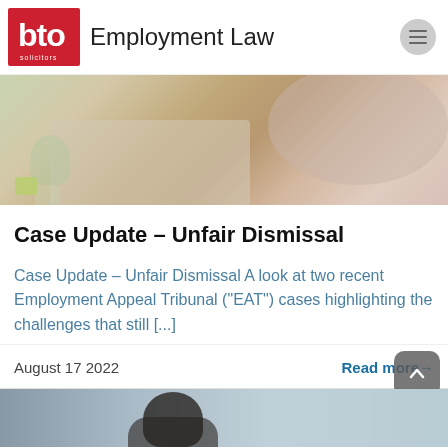bto Employment Law
[Figure (photo): Woman working on laptop at a desk, photographed from the side, with a plant in the background]
Case Update – Unfair Dismissal
Case Update – Unfair Dismissal A look at two recent Employment Appeal Tribunal ("EAT") cases highlighting the challenges that still [...]
August 17 2022
Read more→
[Figure (photo): Partial image of a person's head and shoulders at the bottom of the page]